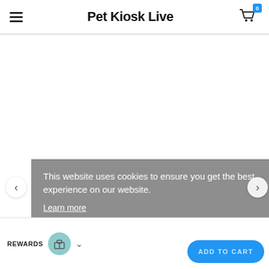Pet Kiosk Live
[Figure (screenshot): White main content area of e-commerce product page]
This website uses cookies to ensure you get the best experience on our website.
Learn more
Got it!
Chat with us
REWARDS | ADD TO CART